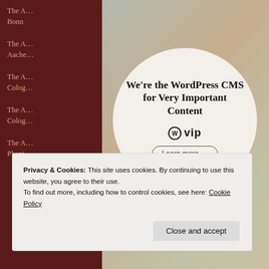The A… Bonn
The A… Aache…
The A… Colog…
The A… Colog…
The A… Phant…
[Figure (screenshot): WordPress VIP advertisement modal overlaid on a magazine collage background. The modal is a white/light gray circle containing bold text 'We're the WordPress CMS for Very Important Content', the WordPress VIP logo, and a 'Learn more →' button.]
Privacy & Cookies: This site uses cookies. By continuing to use this website, you agree to their use.
To find out more, including how to control cookies, see here: Cookie Policy
Close and accept